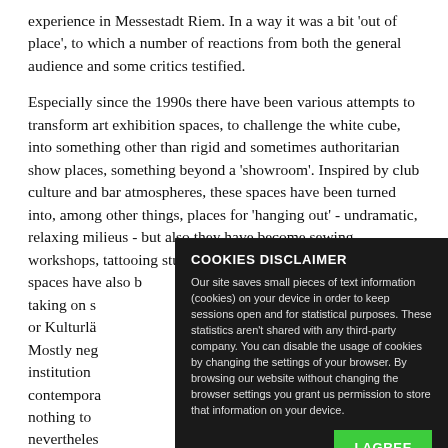experience in Messestadt Riem. In a way it was a bit 'out of place', to which a number of reactions from both the general audience and some critics testified.
Especially since the 1990s there have been various attempts to transform art exhibition spaces, to challenge the white cube, into something other than rigid and sometimes authoritarian show places, something beyond a 'showroom'. Inspired by club culture and bar atmospheres, these spaces have been turned into, among other things, places for 'hanging out' - undramatic, relaxing milieus - but also they have become sewing workshops, tattooing studios, dating agencies, etc. Exhibition spaces have also b... taking on s... or Kulturlä... Mostly neg... institution... contempora... nothing to... nevertheles... conventional understanding of the institution as a place for the display
COOKIES DISCLAIMER
Our site saves small pieces of text information (cookies) on your device in order to keep sessions open and for statistical purposes. These statistics aren't shared with any third-party company. You can disable the usage of cookies by changing the settings of your browser. By browsing our website without changing the browser settings you grant us permission to store that information on your device.
I AGREE